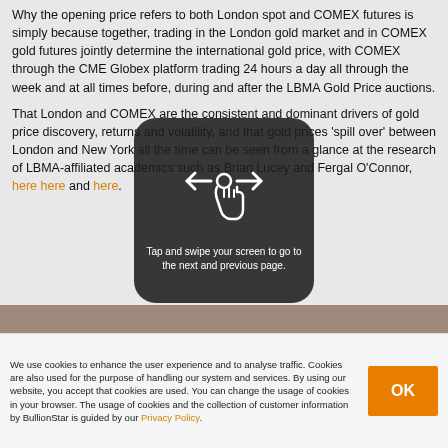Why the opening price refers to both London spot and COMEX futures is simply because together, trading in the London gold market and in COMEX gold futures jointly determine the international gold price, with COMEX through the CME Globex platform trading 24 hours a day all through the week and at all times before, during and after the LBMA Gold Price auctions.
That London and COMEX are the consistent and dominant drivers of gold price discovery, returns and volatility, and that gold prices 'spill over' between London and New York all the time can be seen from a glance at the research of LBMA-affiliated academics such as Brian Lucey and Fergal O'Connor, here here and here.
[Figure (screenshot): Swipe overlay tooltip on gray background showing a hand icon with left/right arrows and text: 'Tap and swipe your screen to go to the next and previous page.']
[Figure (photo): Partial image strip of what appears to be a room or furniture, visible as a thin horizontal band]
We use cookies to enhance the user experience and to analyse traffic. Cookies are also used for the purpose of handling our system and services. By using our website, you accept that cookies are used. You can change the usage of cookies in your browser. The usage of cookies and the collection of customer information by BullionStar is guided by our Privacy Policy.